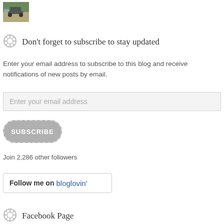[Figure (photo): Small thumbnail image of a truck or vehicle on a road]
Don't forget to subscribe to stay updated
Enter your email address to subscribe to this blog and receive notifications of new posts by email.
Enter your email address
SUBSCRIBE
Join 2,286 other followers
Follow me on bloglovin'
Facebook Page